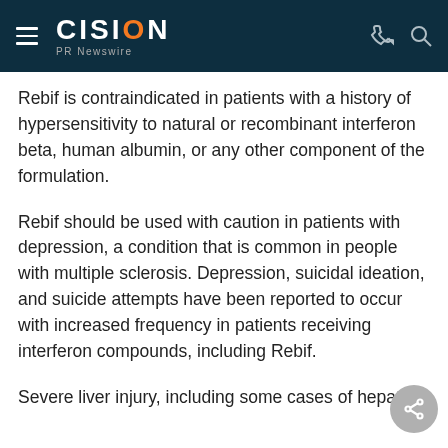CISION PR Newswire
Rebif is contraindicated in patients with a history of hypersensitivity to natural or recombinant interferon beta, human albumin, or any other component of the formulation.
Rebif should be used with caution in patients with depression, a condition that is common in people with multiple sclerosis. Depression, suicidal ideation, and suicide attempts have been reported to occur with increased frequency in patients receiving interferon compounds, including Rebif.
Severe liver injury, including some cases of hepatic